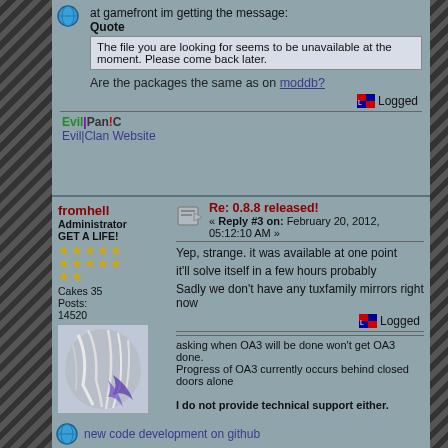at gamefront im getting the message:
Quote
The file you are looking for seems to be unavailable at the moment. Please come back later.
Are the packages the same as on moddb?
Logged
Evil|PanIC
Evil|Clan Website
Re: 0.8.8 released!
« Reply #3 on: February 20, 2012, 05:12:10 AM »
fromhell
Administrator GET A LIFE!
Cakes 35
Posts: 14520
Yep, strange. it was available at one point
it'll solve itself in a few hours probably
Sadly we don't have any tuxfamily mirrors right now
Logged
asking when OA3 will be done won't get OA3 done.
Progress of OA3 currently occurs behind closed doors alone
I do not provide technical support either.
new code development on github